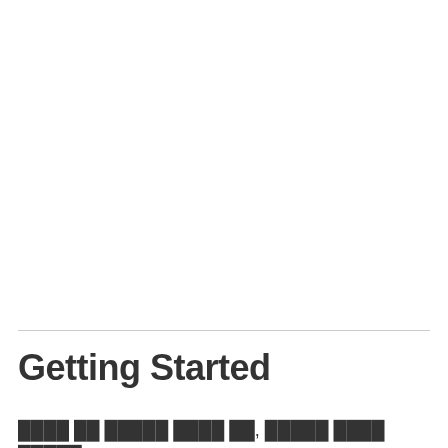Getting Started
████ ██ █████ ████ ██, █████ ████ █████.